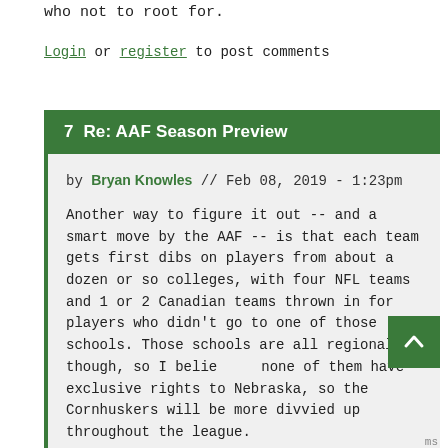who not to root for.
Login or register to post comments
7  Re: AAF Season Preview
by Bryan Knowles // Feb 08, 2019 - 1:23pm
Another way to figure it out -- and a smart move by the AAF -- is that each team gets first dibs on players from about a dozen or so colleges, with four NFL teams and 1 or 2 Canadian teams thrown in for players who didn't go to one of those schools. Those schools are all regional, though, so I believe none of them have exclusive rights to Nebraska, so the Cornhuskers will be more divvied up throughout the league.